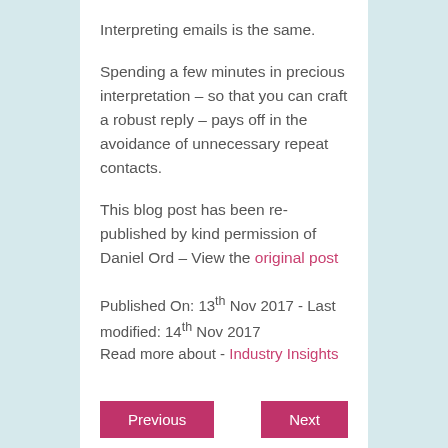Interpreting emails is the same.
Spending a few minutes in precious interpretation – so that you can craft a robust reply – pays off in the avoidance of unnecessary repeat contacts.
This blog post has been re-published by kind permission of Daniel Ord – View the original post
Published On: 13th Nov 2017 - Last modified: 14th Nov 2017
Read more about - Industry Insights
Previous
Next